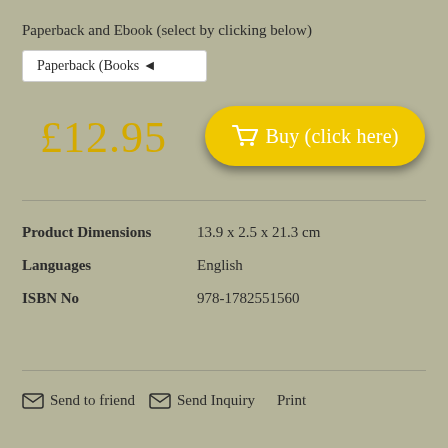Paperback and Ebook (select by clicking below)
Paperback (Books ◄
£12.95
🛒 Buy (click here)
|  |  |
| --- | --- |
| Product Dimensions | 13.9 x 2.5 x 21.3 cm |
| Languages | English |
| ISBN No | 978-1782551560 |
✉ Send to friend   ✉ Send Inquiry   Print